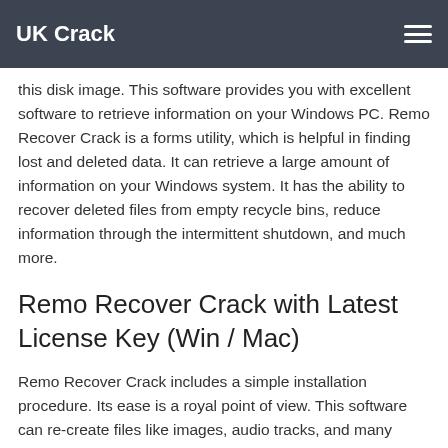UK Crack
this disk image. This software provides you with excellent software to retrieve information on your Windows PC. Remo Recover Crack is a forms utility, which is helpful in finding lost and deleted data. It can retrieve a large amount of information on your Windows system. It has the ability to recover deleted files from empty recycle bins, reduce information through the intermittent shutdown, and much more.
Remo Recover Crack with Latest  License Key (Win / Mac)
Remo Recover Crack includes a simple installation procedure. Its ease is a royal point of view. This software can re-create files like images, audio tracks, and many more that have been deleted or lost for any reason. The advantage of using Remo Image Recovery software is the fact that it is effective in recovering RAW image files. You can recover information or compress files from partitioned storage cards.